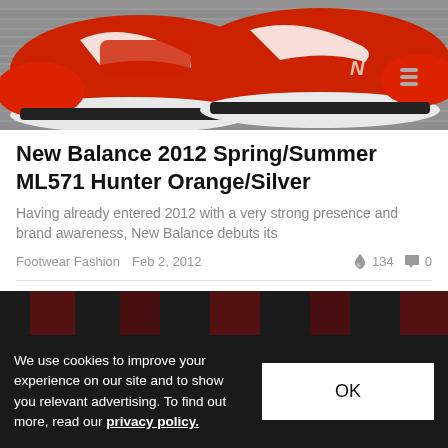[Figure (photo): Close-up photo of red and white New Balance sneakers on a wood/concrete surface]
New Balance 2012 Spring/Summer ML571 Hunter Orange/Silver
Having already entered 2012 with a very strong presence and brand awareness, New Balance debuts its
Footwear Fashion   Feb 2, 2012   🔥 134   💬 0
[Figure (photo): Partial view of a second article image, dark tones with red vertical elements]
We use cookies to improve your experience on our site and to show you relevant advertising. To find out more, read our privacy policy.